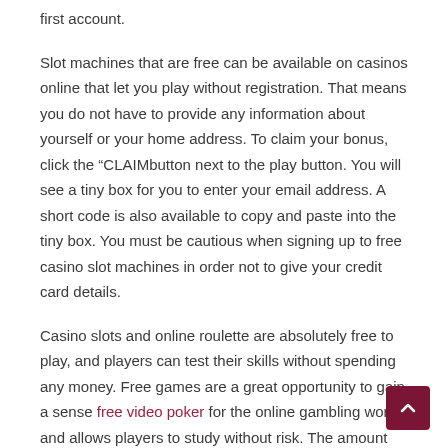first account.
Slot machines that are free can be available on casinos online that let you play without registration. That means you do not have to provide any information about yourself or your home address. To claim your bonus, click the "CLAIMbutton next to the play button. You will see a tiny box for you to enter your email address. A short code is also available to copy and paste into the tiny box. You must be cautious when signing up to free casino slot machines in order not to give your credit card details.
Casino slots and online roulette are absolutely free to play, and players can test their skills without spending any money. Free games are a great opportunity to gain a sense free video poker for the online gambling world and allows players to study without risk. The amount you invest is what determines the amount of bonuses you can earn. As soon as you stop depositing mon your account will be closed and you'll forfeit all your bonuses.